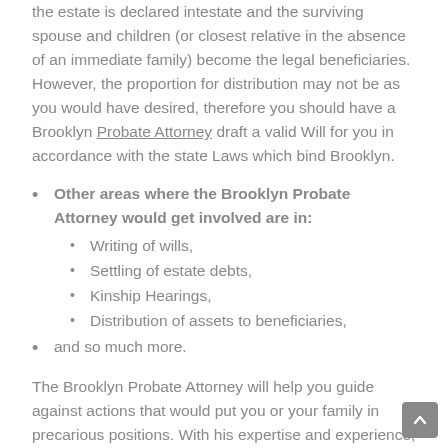the estate is declared intestate and the surviving spouse and children (or closest relative in the absence of an immediate family) become the legal beneficiaries. However, the proportion for distribution may not be as you would have desired, therefore you should have a Brooklyn Probate Attorney draft a valid Will for you in accordance with the state Laws which bind Brooklyn.
Other areas where the Brooklyn Probate Attorney would get involved are in:
Writing of wills,
Settling of estate debts,
Kinship Hearings,
Distribution of assets to beneficiaries,
and so much more.
The Brooklyn Probate Attorney will help you guide against actions that would put you or your family in precarious positions. With his expertise and experience, he will help you